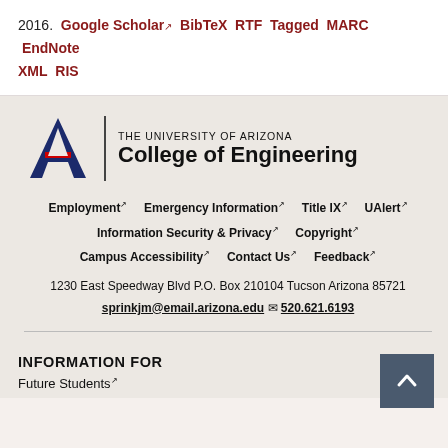2016. Google Scholar BibTeX RTF Tagged MARC EndNote XML RIS
[Figure (logo): The University of Arizona College of Engineering logo with block letter A in navy/red and college name text]
Employment  Emergency Information  Title IX  UAlert  Information Security & Privacy  Copyright  Campus Accessibility  Contact Us  Feedback
1230 East Speedway Blvd P.O. Box 210104 Tucson Arizona 85721
sprinkjm@email.arizona.edu  520.621.6193
INFORMATION FOR
Future Students